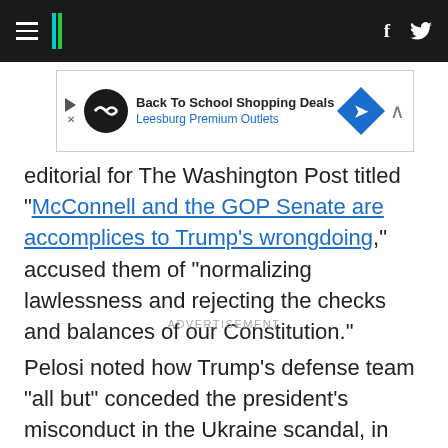HuffPost navigation header with hamburger menu, logo, Facebook and Twitter icons
[Figure (other): Advertisement banner: Back To School Shopping Deals - Leesburg Premium Outlets]
editorial for The Washington Post titled “McConnell and the GOP Senate are accomplices to Trump’s wrongdoing,” accused them of “normalizing lawlessness and rejecting the checks and balances of our Constitution.”
ADVERTISEMENT
Pelosi noted how Trump’s defense team “all but” conceded the president’s misconduct in the Ukraine scandal, in which she said he “abused the power of his office to pressure a foreign